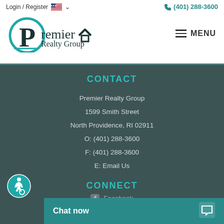Login / Register   (401) 288-3600
[Figure (logo): Premier Realty Group logo with teal circular P and house/arrow icon]
MENU
CONTACT
Premier Realty Group
1599 Smith Street
North Providence, RI 02911
O: (401) 288-3600
F: (401) 288-3600
E: Email Us
CONNECT
[Figure (infographic): Accessibility wheelchair icon in teal circle]
Chat now